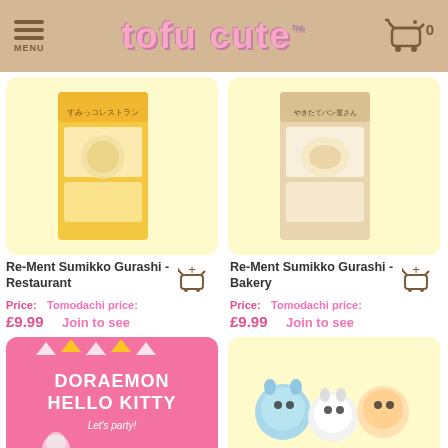MENU | tofu cute™ | cart 0
[Figure (photo): Re-Ment Sumikko Gurashi Restaurant box set product photo on yellow background]
[Figure (photo): Re-Ment Sumikko Gurashi Bakery box set product photo on yellow background]
Re-Ment Sumikko Gurashi - Restaurant
Price: £9.99   Tomodachi price: Join to see
Re-Ment Sumikko Gurashi - Bakery
Price: £9.99   Tomodachi price: Join to see
[Figure (photo): Doraemon Hello Kitty Let's Party product on pink background]
[Figure (photo): Cute plush animal toys on yellow background]